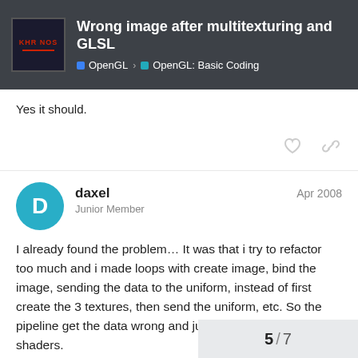Wrong image after multitexturing and GLSL | OpenGL | OpenGL: Basic Coding
Yes it should.
daxel
Junior Member
Apr 2008
I already found the problem… It was that i try to refactor too much and i made loops with create image, bind the image, sending the data to the uniform, instead of first create the 3 textures, then send the uniform, etc. So the pipeline get the data wrong and just sent one texture to the shaders.

Anyway, thanks to all the people and i will send the final code to nehe tutorials. Maybe it can help someone.
5 / 7